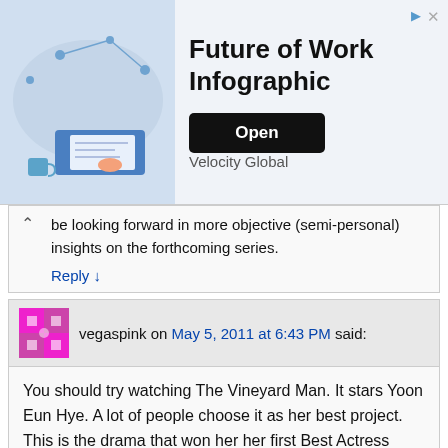[Figure (screenshot): Advertisement banner for 'Future of Work Infographic' by Velocity Global with an Open button]
be looking forward in more objective (semi-personal) insights on the forthcoming series.
Reply ↓
vegaspink on May 5, 2011 at 6:43 PM said:
You should try watching The Vineyard Man. It stars Yoon Eun Hye. A lot of people choose it as her best project. This is the drama that won her her first Best Actress Award. No, it wasn't Goong. She won the Grime Award for Best Actress an Song Il Gook won the Best Actor. But Song Il Gook won it for another drama. He didn't act in The Vineyard Man. Oh Man Seok did.
Reply ↓
vegaspink on May 5, 2011 at 7:17 PM said:
Goong, I love and Coffee Prince too… (top choices)